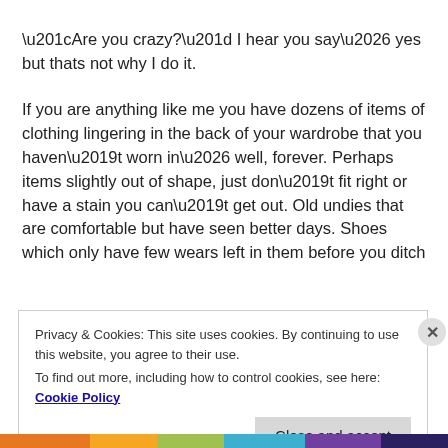“Are you crazy?”  I hear you say… yes but thats not why I do it.
If you are anything like me you have dozens of items of clothing lingering in the back of your wardrobe that you haven’t worn in… well,  forever.  Perhaps items slightly out of shape, just don’t fit right or have a stain you can’t get out.  Old undies that are comfortable but have seen better days.  Shoes which only have few wears left in them before you ditch
Privacy & Cookies: This site uses cookies. By continuing to use this website, you agree to their use.
To find out more, including how to control cookies, see here: Cookie Policy